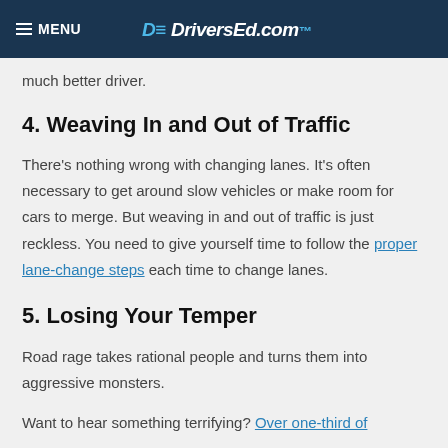MENU | DriversEd.com
much better driver.
4. Weaving In and Out of Traffic
There's nothing wrong with changing lanes. It's often necessary to get around slow vehicles or make room for cars to merge. But weaving in and out of traffic is just reckless. You need to give yourself time to follow the proper lane-change steps each time to change lanes.
5. Losing Your Temper
Road rage takes rational people and turns them into aggressive monsters.
Want to hear something terrifying? Over one-third of